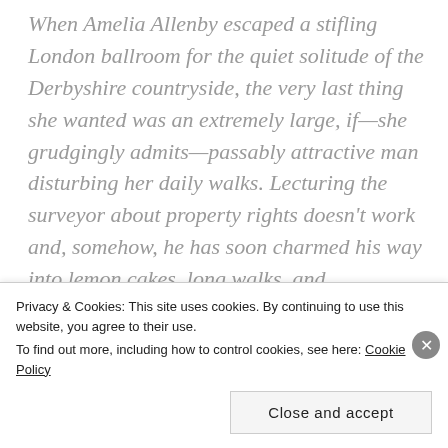When Amelia Allenby escaped a stifling London ballroom for the quiet solitude of the Derbyshire countryside, the very last thing she wanted was an extremely large, if—she grudgingly admits—passably attractive man disturbing her daily walks. Lecturing the surveyor about property rights doesn't work and, somehow, he has soon charmed his way into lemon cakes, long walks, and dangerously heady kisses.

The very last place Sydney wished to be was in the
Privacy & Cookies: This site uses cookies. By continuing to use this website, you agree to their use.
To find out more, including how to control cookies, see here: Cookie Policy
Close and accept